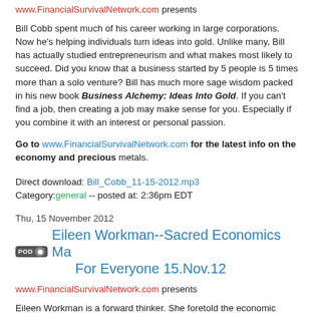www.FinancialSurvivalNetwork.com presents
Bill Cobb spent much of his career working in large corporations. Now he's helping individuals turn ideas into gold. Unlike many, Bill has actually studied entrepreneurism and what makes businesses most likely to succeed. Did you know that a business started by 5 people is 5 times more likely than a solo venture? Bill has much more sage wisdom packed in his new book Business Alchemy: Ideas Into Gold. If you can't find a job, then creating a job may make sense for you. Especially if you combine it with an interest or personal passion.
Go to www.FinancialSurvivalNetwork.com for the latest info on the economy and precious metals.
Direct download: Bill_Cobb_11-15-2012.mp3
Category:general -- posted at: 2:36pm EDT
Thu, 15 November 2012
Eileen Workman--Sacred Economics Makes Sense For Everyone 15.Nov.12
www.FinancialSurvivalNetwork.com presents
Eileen Workman is a forward thinker. She foretold the economic collapse of 2008-09 many years before it occurred. Now she believes that we are heading into a new Wisdom Economy where people follow their passions and work for everyone's benefit. While we're not convinced that that man is yet ready for this new paradigm, we do believe that rapid and fundamental change must happen around the world.